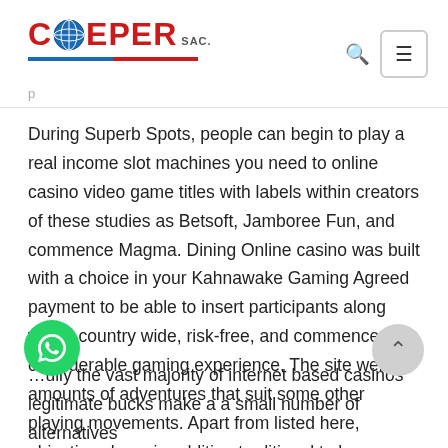COEPER SAC. [logo with globe, search icon, menu button]
During Superb Spots, people can begin to play a real income slot machines you need to online casino video game titles with labels within creators of these studies as Betsoft, Jamboree Fun, and commence Magma. Dining Online casino was built with a choice in your Kahnawake Gaming Agreed payment to be able to insert participants along with a country wide, risk-free, and commence considerable gaming experience. The site were amounts of adventures that suit some other playing movements. Apart from listed here, objectives have in addition traditional to have an immense total connected with games.
...ully the vast majority of internet based casinos legitimate bucks make a a small number of alternatives